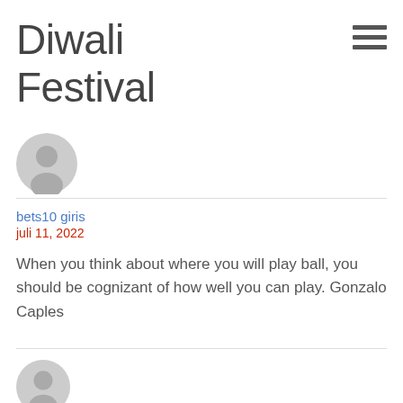Diwali Festival
[Figure (illustration): Hamburger menu icon (three horizontal lines)]
[Figure (illustration): User avatar placeholder icon (gray silhouette)]
bets10 giris
juli 11, 2022
When you think about where you will play ball, you should be cognizant of how well you can play. Gonzalo Caples
[Figure (illustration): Second user avatar placeholder icon (gray silhouette)]